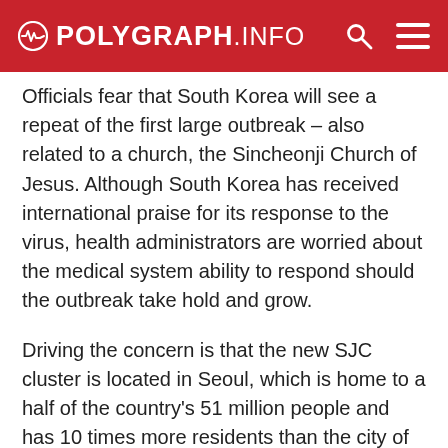POLYGRAPH.info
Officials fear that South Korea will see a repeat of the first large outbreak – also related to a church, the Sincheonji Church of Jesus. Although South Korea has received international praise for its response to the virus, health administrators are worried about the medical system ability to respond should the outbreak take hold and grow.
Driving the concern is that the new SJC cluster is located in Seoul, which is home to a half of the country's 51 million people and has 10 times more residents than the city of Daegu, where the Sincheonji church outbreak began. So far, a total of 623 recent cases have been linked to the SJC, authorities say, making it the largest single outbreak since the one